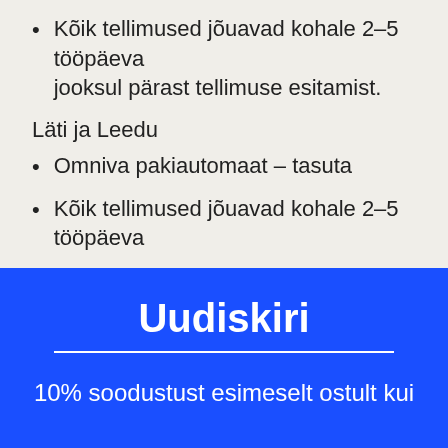Kõik tellimused jõuavad kohale 2-5 tööpäeva jooksul pärast tellimuse esitamist.
Läti ja Leedu
Omniva pakiautomaat – tasuta
Kõik tellimused jõuavad kohale 2-5 tööpäeva
Uudiskiri
10% soodustust esimeselt ostult kui